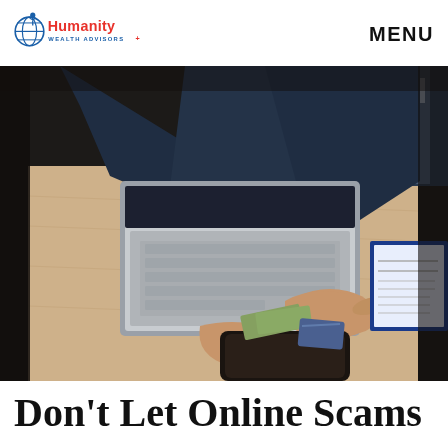Humanity Wealth Advisors — MENU
[Figure (photo): Overhead view of a person in a dark navy long-sleeve shirt sitting at a light wood desk, typing on a laptop, while their other hand reaches toward a black wallet containing cash and a card. Dark binders are visible in the upper right corner, and a blue-framed document sits to the right.]
Don't Let Online Scams